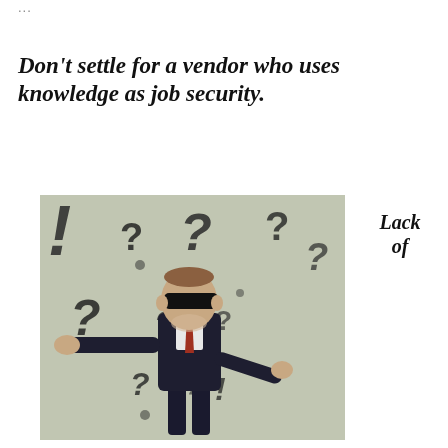...
Don't settle for a vendor who uses knowledge as job security.
[Figure (photo): A blindfolded businessman in a suit with arms outstretched, surrounded by question marks and exclamation points on a grey background.]
Lack of